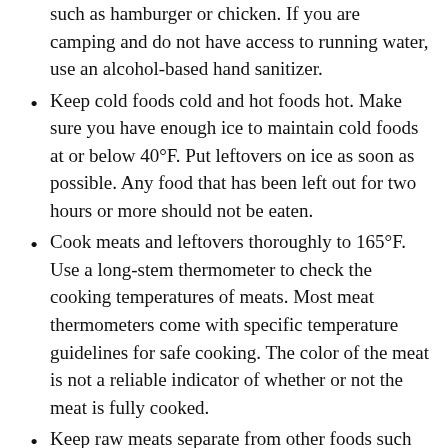such as hamburger or chicken. If you are camping and do not have access to running water, use an alcohol-based hand sanitizer.
Keep cold foods cold and hot foods hot. Make sure you have enough ice to maintain cold foods at or below 40°F. Put leftovers on ice as soon as possible. Any food that has been left out for two hours or more should not be eaten.
Cook meats and leftovers thoroughly to 165°F. Use a long-stem thermometer to check the cooking temperatures of meats. Most meat thermometers come with specific temperature guidelines for safe cooking. The color of the meat is not a reliable indicator of whether or not the meat is fully cooked.
Keep raw meats separate from other foods such as salads or fruits.